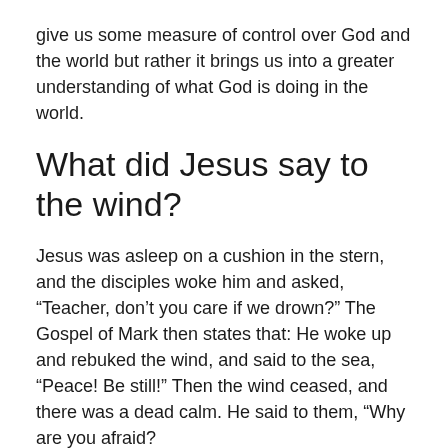give us some measure of control over God and the world but rather it brings us into a greater understanding of what God is doing in the world.
What did Jesus say to the wind?
Jesus was asleep on a cushion in the stern, and the disciples woke him and asked, “Teacher, don’t you care if we drown?” The Gospel of Mark then states that: He woke up and rebuked the wind, and said to the sea, “Peace! Be still!” Then the wind ceased, and there was a dead calm. He said to them, “Why are you afraid?